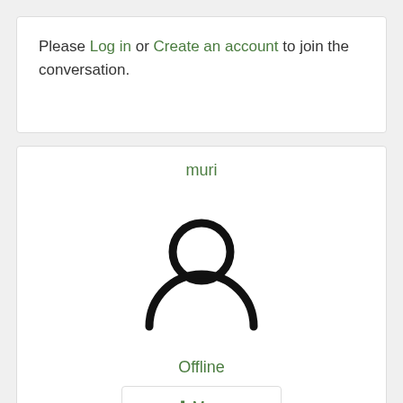Please Log in or Create an account to join the conversation.
muri
[Figure (illustration): Generic user avatar icon — circle head above a semicircle body outline, black strokes on white background]
Offline
↓More
🕐 8 years 4 months ago #484871 by muri
Replied by muri on topic Footprints in the sand